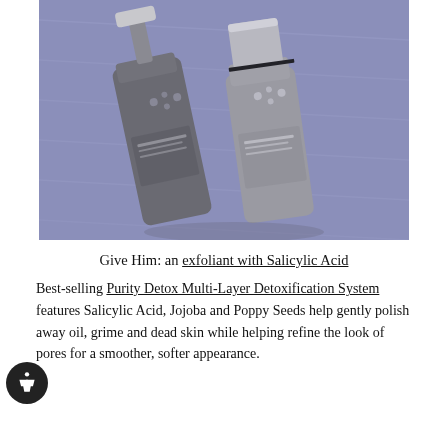[Figure (photo): Two gray/silver skincare product bottles (pump dispenser and spray/cap bottle) from Rodan+Fields Purity Clean line, photographed on a purple/lavender background from above at an angle.]
Give Him: an exfoliant with Salicylic Acid
Best-selling Purity Detox Multi-Layer Detoxification System features Salicylic Acid, Jojoba and Poppy Seeds help gently polish away oil, grime and dead skin while helping refine the look of pores for a smoother, softer appearance.